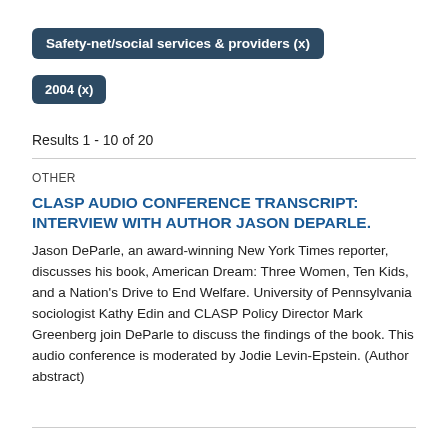Safety-net/social services & providers (x)
2004 (x)
Results 1 - 10 of 20
OTHER
CLASP AUDIO CONFERENCE TRANSCRIPT: INTERVIEW WITH AUTHOR JASON DEPARLE.
Jason DeParle, an award-winning New York Times reporter, discusses his book, American Dream: Three Women, Ten Kids, and a Nation's Drive to End Welfare. University of Pennsylvania sociologist Kathy Edin and CLASP Policy Director Mark Greenberg join DeParle to discuss the findings of the book. This audio conference is moderated by Jodie Levin-Epstein. (Author abstract)